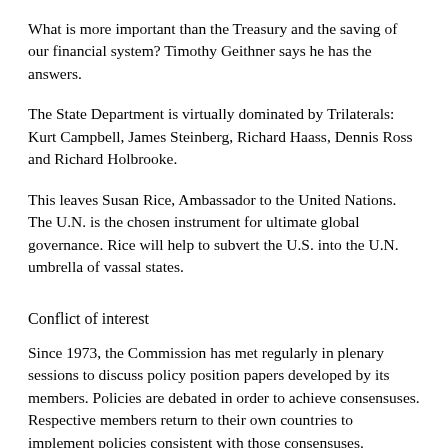What is more important than the Treasury and the saving of our financial system? Timothy Geithner says he has the answers.
The State Department is virtually dominated by Trilaterals: Kurt Campbell, James Steinberg, Richard Haass, Dennis Ross and Richard Holbrooke.
This leaves Susan Rice, Ambassador to the United Nations. The U.N. is the chosen instrument for ultimate global governance. Rice will help to subvert the U.S. into the U.N. umbrella of vassal states.
Conflict of interest
Since 1973, the Commission has met regularly in plenary sessions to discuss policy position papers developed by its members. Policies are debated in order to achieve consensuses. Respective members return to their own countries to implement policies consistent with those consensuses.
The original stated purpose of the Trilateral Commission was to create a "New International Economic Order." Its current statement has morphed into fostering a "closer cooperation among the more democratic industrialized areas of the world